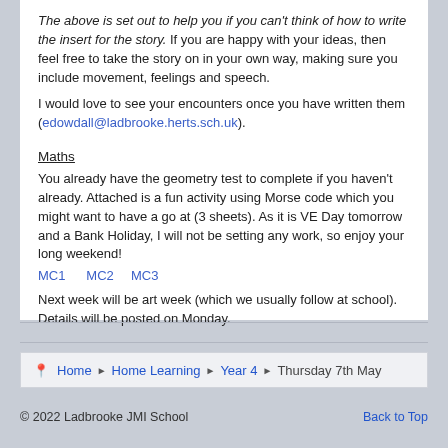The above is set out to help you if you can't think of how to write the insert for the story. If you are happy with your ideas, then feel free to take the story on in your own way, making sure you include movement, feelings and speech.
I would love to see your encounters once you have written them (edowdall@ladbrooke.herts.sch.uk).
Maths
You already have the geometry test to complete if you haven't already. Attached is a fun activity using Morse code which you might want to have a go at (3 sheets). As it is VE Day tomorrow and a Bank Holiday, I will not be setting any work, so enjoy your long weekend!
MC1   MC2  MC3
Next week will be art week (which we usually follow at school). Details will be posted on Monday.
Home › Home Learning › Year 4 › Thursday 7th May
© 2022 Ladbrooke JMI School   Back to Top